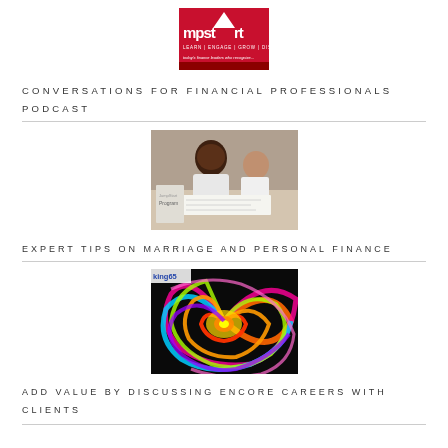[Figure (logo): JumpStart logo with red background, triangle icon, and tagline text: LEARN | ENGAGE | GROW | DISCOVER]
CONVERSATIONS FOR FINANCIAL PROFESSIONALS PODCAST
[Figure (photo): Two people at a meeting table reviewing documents]
EXPERT TIPS ON MARRIAGE AND PERSONAL FINANCE
[Figure (photo): Colorful swirling spiral abstract image with 'King65' text overlay]
ADD VALUE BY DISCUSSING ENCORE CAREERS WITH CLIENTS